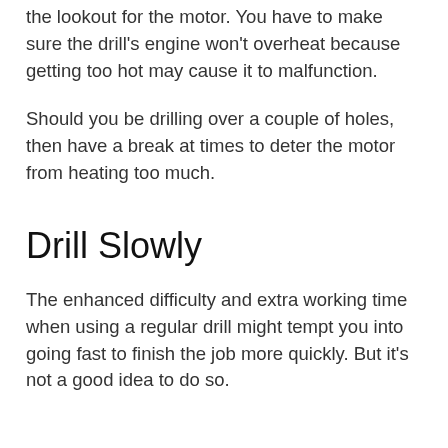the lookout for the motor. You have to make sure the drill's engine won't overheat because getting too hot may cause it to malfunction.
Should you be drilling over a couple of holes, then have a break at times to deter the motor from heating too much.
Drill Slowly
The enhanced difficulty and extra working time when using a regular drill might tempt you into going fast to finish the job more quickly. But it's not a good idea to do so.